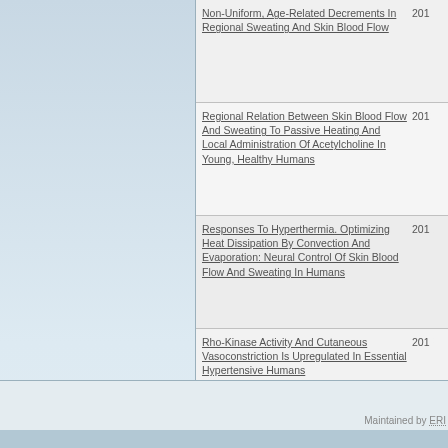Non-Uniform, Age-Related Decrements In Regional Sweating And Skin Blood Flow 201
Regional Relation Between Skin Blood Flow And Sweating To Passive Heating And Local Administration Of Acetylcholine In Young, Healthy Humans 201
Responses To Hyperthermia. Optimizing Heat Dissipation By Convection And Evaporation: Neural Control Of Skin Blood Flow And Sweating In Humans 201
Rho-Kinase Activity And Cutaneous Vasoconstriction Is Upregulated In Essential Hypertensive Humans 201
Upregulation Of Inducible Nitric Oxide Synthase Contributes To Attenuated Cutaneous Vasodilation In Essential Hypertensive Humans 201
Maintained by ERI